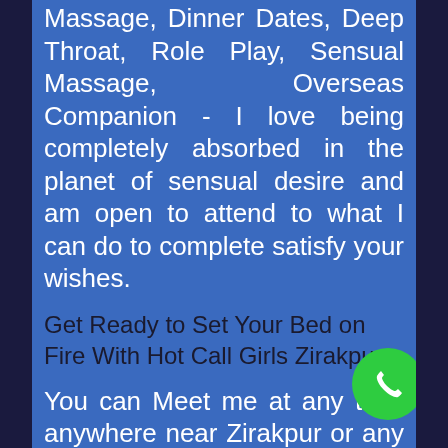Massage, Dinner Dates, Deep Throat, Role Play, Sensual Massage, Overseas Companion - I love being completely absorbed in the planet of sensual desire and am open to attend to what I can do to complete satisfy your wishes.
Get Ready to Set Your Bed on Fire With Hot Call Girls Zirakpur
You can Meet me at any time anywhere near Zirakpur or any hotels in Zirakpur. Being Female I do know what is the severity of your wish and I do complete them all even you have all types of Kama Sutra Place and some activities that you have exclusively wished see in the amazing way of doing
[Figure (illustration): Green phone call button icon (circular green badge with white phone handset icon)]